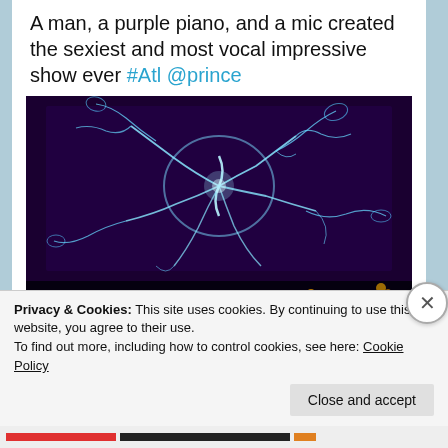A man, a purple piano, and a mic created the sexiest and most vocal impressive show ever #Atl @prince
[Figure (photo): Concert photo showing a blue/purple glowing plasma-like light projection on a screen above a dark stage, with a performer silhouetted in purple light and audience members visible in the foreground.]
Privacy & Cookies: This site uses cookies. By continuing to use this website, you agree to their use.
To find out more, including how to control cookies, see here: Cookie Policy
Close and accept